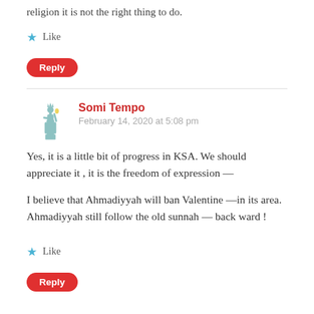religion it is not the right thing to do.
Like
Reply
Somi Tempo
February 14, 2020 at 5:08 pm
Yes, it is a little bit of progress in KSA. We should appreciate it , it is the freedom of expression —
I believe that Ahmadiyyah will ban Valentine —in its area. Ahmadiyyah still follow the old sunnah — back ward !
Like
Reply